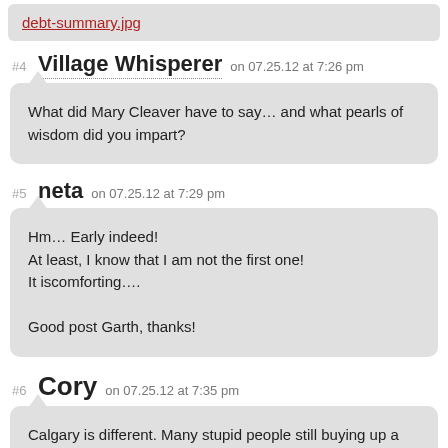[Figure (screenshot): Attachment link showing 'debt-summary.jpg' in red text on a grey bar]
#4 Village Whisperer on 07.25.12 at 7:26 pm
What did Mary Cleaver have to say… and what pearls of wisdom did you impart?
#5 neta on 07.25.12 at 7:29 pm
Hm… Early indeed!
At least, I know that I am not the first one!
It iscomforting….

Good post Garth, thanks!
#6 Cory on 07.25.12 at 7:35 pm
Calgary is different. Many stupid people still buying up a storm. Not sure